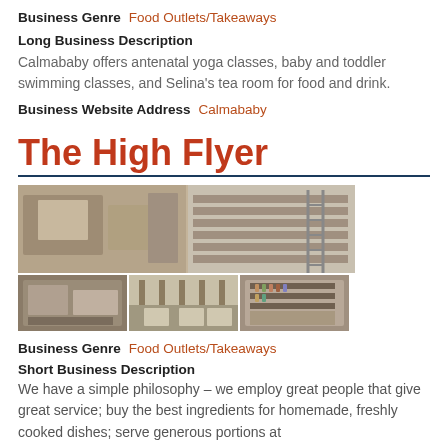Business Genre  Food Outlets/Takeaways
Long Business Description
Calmababy offers antenatal yoga classes, baby and toddler swimming classes, and Selina's tea room for food and drink.
Business Website Address  Calmababy
The High Flyer
[Figure (photo): Grid of photos showing interior and exterior of The High Flyer venue: top wide image shows barn interior, bottom row shows three smaller images of the venue spaces.]
Business Genre  Food Outlets/Takeaways
Short Business Description
We have a simple philosophy – we employ great people that give great service; buy the best ingredients for homemade, freshly cooked dishes; serve generous portions at